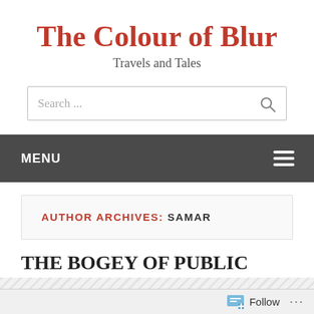The Colour of Blur
Travels and Tales
Search ...
MENU
AUTHOR ARCHIVES: SAMAR
THE BOGEY OF PUBLIC
Follow